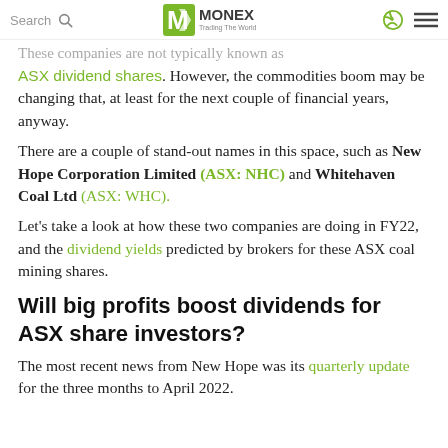Search | MONEX Trading The World
These companies are not typically known as ASX dividend shares. However, the commodities boom may be changing that, at least for the next couple of financial years, anyway.
There are a couple of stand-out names in this space, such as New Hope Corporation Limited (ASX: NHC) and Whitehaven Coal Ltd (ASX: WHC).
Let's take a look at how these two companies are doing in FY22, and the dividend yields predicted by brokers for these ASX coal mining shares.
Will big profits boost dividends for ASX share investors?
The most recent news from New Hope was its quarterly update for the three months to April 2022.